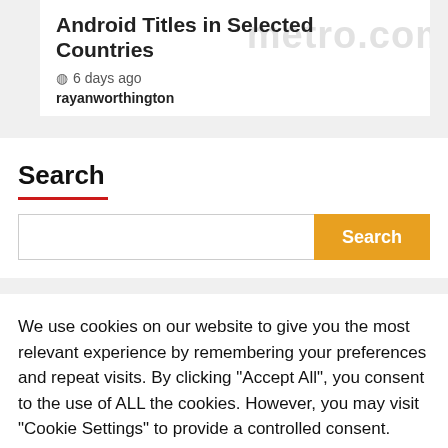Android Titles in Selected Countries
6 days ago
rayanworthington
Search
We use cookies on our website to give you the most relevant experience by remembering your preferences and repeat visits. By clicking "Accept All", you consent to the use of ALL the cookies. However, you may visit "Cookie Settings" to provide a controlled consent.
Cookie Settings
Accept All